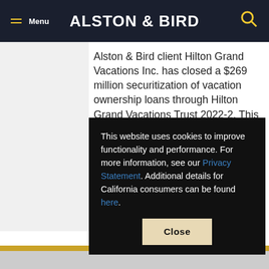Menu | ALSTON & BIRD
Alston & Bird client Hilton Grand Vacations Inc. has closed a $269 million securitization of vacation ownership loans through Hilton Grand Vacations Trust 2022-2. This marks a second ABS transaction in 2022 for HGV. The transaction features four classes of securities: approximately $153 million of Class A notes; approximately $73 million of...m...a...n...
This website uses cookies to improve functionality and performance. For more information, see our Privacy Statement. Additional details for California consumers can be found here.